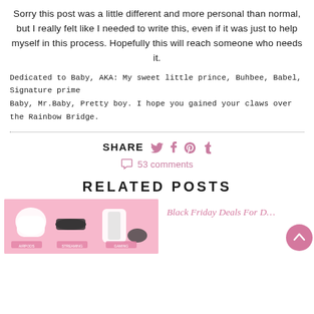Sorry this post was a little different and more personal than normal, but I really felt like I needed to write this, even if it was just to help myself in this process. Hopefully this will reach someone who needs it.
Dedicated to Baby, AKA: My sweet little prince, Buhbee, Babel, Signature prime Baby, Mr.Baby, Pretty boy. I hope you gained your claws over the Rainbow Bridge.
SHARE  [twitter] [facebook] [pinterest] [tumblr]
53 comments
RELATED POSTS
[Figure (photo): Pink background image showing electronics including AirPods, Roku, PlayStation 5 controller and console, with pink category labels below]
Black Friday Deals For D…